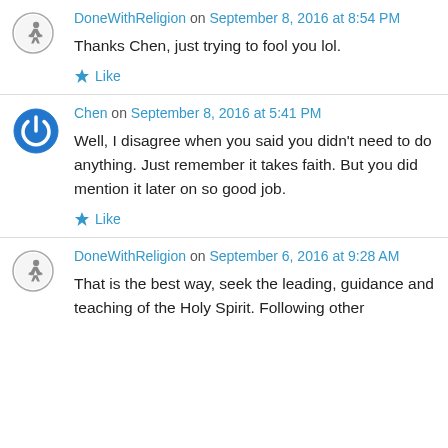DoneWithReligion on September 8, 2016 at 8:54 PM
Thanks Chen, just trying to fool you lol.
Like
Chen on September 8, 2016 at 5:41 PM
Well, I disagree when you said you didn't need to do anything. Just remember it takes faith. But you did mention it later on so good job.
Like
DoneWithReligion on September 6, 2016 at 9:28 AM
That is the best way, seek the leading, guidance and teaching of the Holy Spirit. Following other